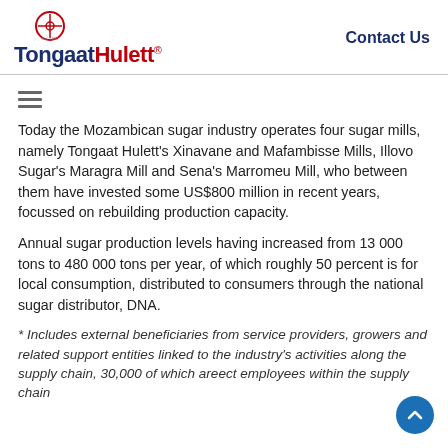TongaatHulett® | Contact Us
[Figure (other): Hamburger menu icon (three horizontal lines)]
Today the Mozambican sugar industry operates four sugar mills, namely Tongaat Hulett's Xinavane and Mafambisse Mills, Illovo Sugar's Maragra Mill and Sena's Marromeu Mill, who between them have invested some US$800 million in recent years, focussed on rebuilding production capacity.
Annual sugar production levels having increased from 13 000 tons to 480 000 tons per year, of which roughly 50 percent is for local consumption, distributed to consumers through the national sugar distributor, DNA.
* Includes external beneficiaries from service providers, growers and related support entities linked to the industry's activities along the supply chain, 30,000 of which are direct employees within the supply chain